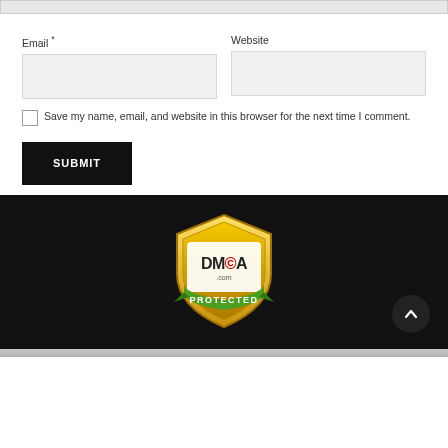[Figure (other): Grey input field top bar (partial, cropped at top)]
Email *
Website
[Figure (other): Email text input field (grey box)]
[Figure (other): Website text input field (grey box)]
Save my name, email, and website in this browser for the next time I comment.
SUBMIT
[Figure (logo): DMCA Protected badge/shield logo in gold and green]
[Figure (other): Scroll to top button (dark circle with up arrow chevron)]